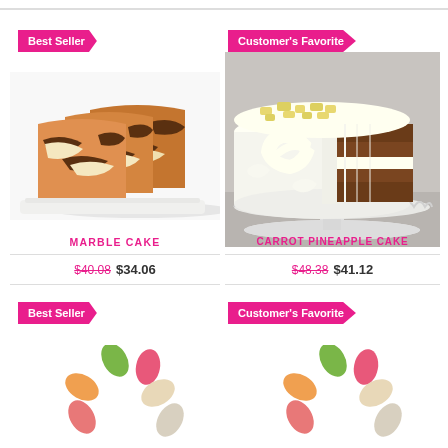[Figure (photo): Marble cake loaf sliced, showing chocolate and vanilla swirl pattern on white background]
[Figure (photo): Carrot pineapple cake with white cream cheese frosting on a white cake stand, sliced to show interior]
Best Seller
Customer's Favorite
MARBLE CAKE
$40.08  $34.06
CARROT PINEAPPLE CAKE
$48.38  $41.12
Best Seller
Customer's Favorite
[Figure (other): Loading spinner with colored oval dots in pink, green, orange, and beige]
[Figure (other): Loading spinner with colored oval dots in pink, green, orange, and beige]